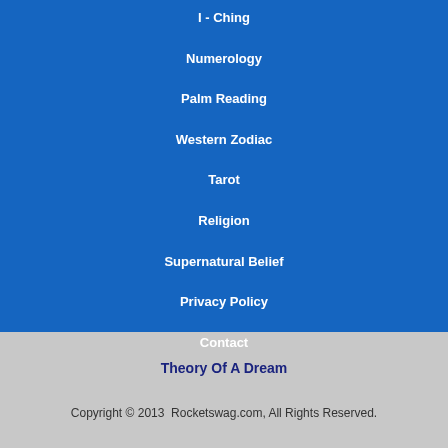I - Ching
Numerology
Palm Reading
Western Zodiac
Tarot
Religion
Supernatural Belief
Privacy Policy
Contact
Theory Of A Dream
Copyright © 2013  Rocketswag.com, All Rights Reserved.